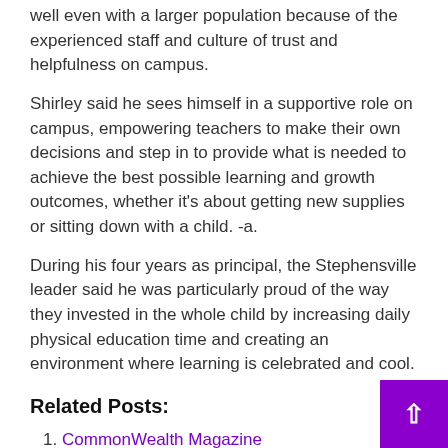well even with a larger population because of the experienced staff and culture of trust and helpfulness on campus.
Shirley said he sees himself in a supportive role on campus, empowering teachers to make their own decisions and step in to provide what is needed to achieve the best possible learning and growth outcomes, whether it’s about getting new supplies or sitting down with a child. -a.
During his four years as principal, the Stephensville leader said he was particularly proud of the way they invested in the whole child by increasing daily physical education time and creating an environment where learning is celebrated and cool.
Related Posts:
CommonWealth Magazine
Inside South Korea’s “Deadly Serious” Electronic Sports World
France elects regional leaders and prepares preside…